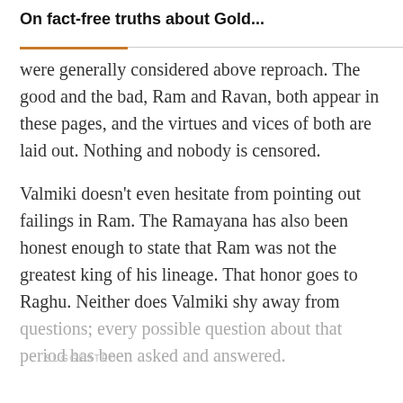On fact-free truths about Gold...
were generally considered above reproach. The good and the bad, Ram and Ravan, both appear in these pages, and the virtues and vices of both are laid out. Nothing and nobody is censored.
Valmiki doesn’t even hesitate from pointing out failings in Ram. The Ramayana has also been honest enough to state that Ram was not the greatest king of his lineage. That honor goes to Raghu. Neither does Valmiki shy away from questions; every possible question about that period has been asked and answered.